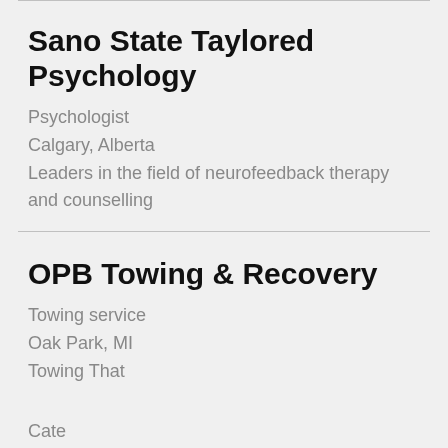Sano State Taylored Psychology
Psychologist
Calgary, Alberta
Leaders in the field of neurofeedback therapy and counselling
OPB Towing & Recovery
Towing service
Oak Park, MI
Towing That